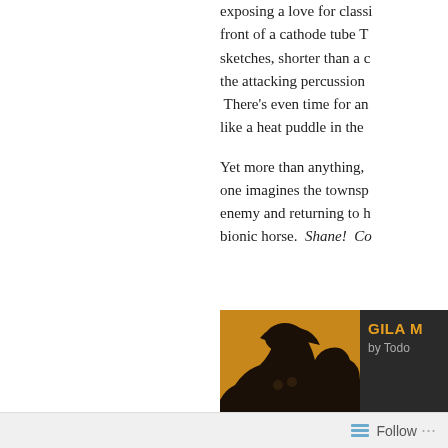exposing a love for class... front of a cathode tube T... sketches, shorter than a c... the attacking percussion... There's even time for an... like a heat puddle in the...
Yet more than anything, t... one imagines the townsp... enemy and returning to h... bionic horse.  Shane!  Co...
[Figure (photo): Album cover for 'Gila Man' showing a dark silhouette of a cowboy against an orange/amber background, with text overlay reading 'GILA MAN'. Next to it is a dark panel showing 'GILA M' in orange text, 'by Todo' in gray text, and a play button.]
Share this:
Follow